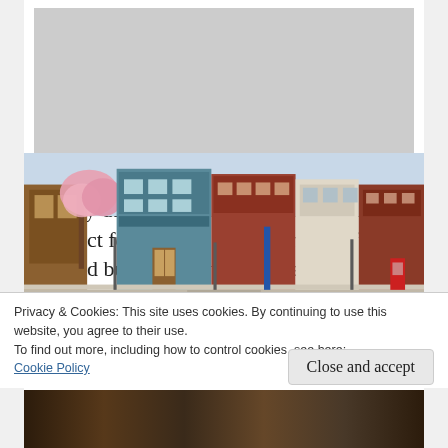[Figure (photo): Street view of a small frontier-style town with flat-topped brick buildings, colorful storefronts, a blooming pink tree, and a wide paved street intersection. Appears to be a historic downtown area.]
As my daughter pointed out, it had the distinct feel of a frontier town with flat-topped buildings, wooden beamed facades and a railroad running through the center.
In front of shops peddling local goods, carts bloomed with flowers. Restaurants and an old-timey soda shop rounded out the
Privacy & Cookies: This site uses cookies. By continuing to use this website, you agree to their use.
To find out more, including how to control cookies, see here: Cookie Policy
Close and accept
[Figure (photo): Partial view of another photo at the bottom, appears to show interior of a shop with warm lighting.]